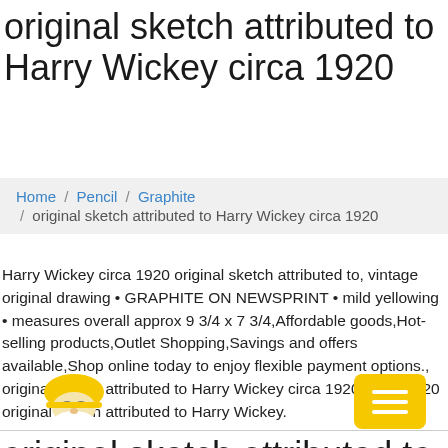original sketch attributed to Harry Wickey circa 1920
Home / Pencil / Graphite / original sketch attributed to Harry Wickey circa 1920
Harry Wickey circa 1920 original sketch attributed to, vintage original drawing • GRAPHITE ON NEWSPRINT • mild yellowing • measures overall approx 9 3/4 x 7 3/4,Affordable goods,Hot-selling products,Outlet Shopping,Savings and offers available,Shop online today to enjoy flexible payment options., original sketch attributed to Harry Wickey circa 1920, circa 1920 original sketch attributed to Harry Wickey.
[Figure (logo): Cartoon gnome/wizard character with yellow hat as site logo]
original sketch attributed to Harry Wickey circa 1920